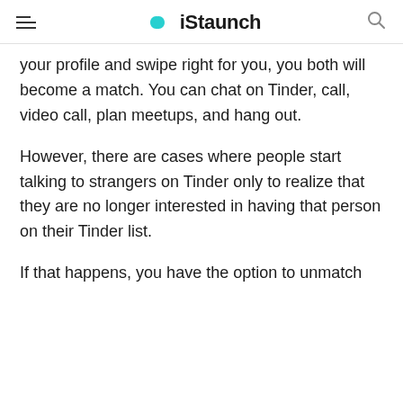iStaunch
your profile and swipe right for you, you both will become a match. You can chat on Tinder, call, video call, plan meetups, and hang out.
However, there are cases where people start talking to strangers on Tinder only to realize that they are no longer interested in having that person on their Tinder list.
If that happens, you have the option to unmatch